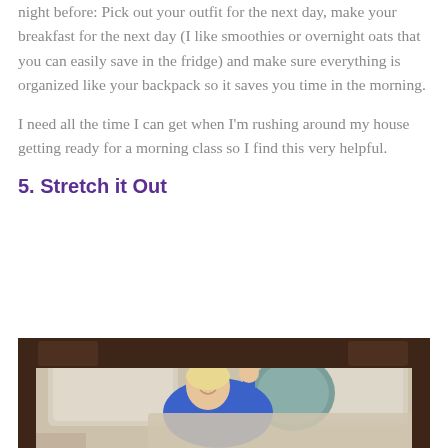night before: Pick out your outfit for the next day, make your breakfast for the next day (I like smoothies or overnight oats that you can easily save in the fridge) and make sure everything is organized like your backpack so it saves you time in the morning.
I need all the time I can get when I'm rushing around my house getting ready for a morning class so I find this very helpful.
5. Stretch it Out
[Figure (photo): A woman in blue pajamas smiling and waking up in a large bed with light grey/beige patterned bedding and multiple pillows including a round teal pillow.]